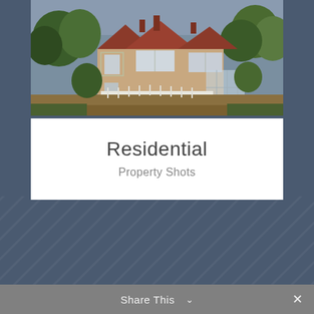[Figure (photo): Aerial view of a large Tudor-style residential property surrounded by lush green trees, with red-brick and timber-frame facade, white fences along a path, and a mix of conservatory and traditional architecture]
Residential
Property Shots
Share This ∨  ✕